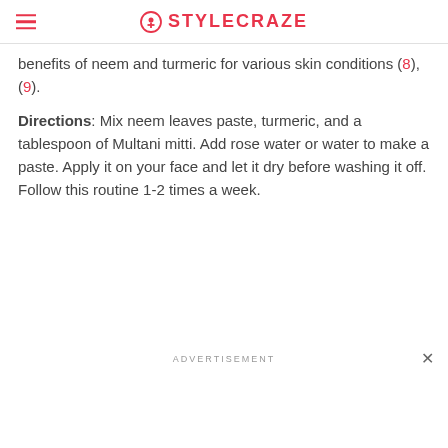STYLECRAZE
benefits of neem and turmeric for various skin conditions (8), (9).
Directions: Mix neem leaves paste, turmeric, and a tablespoon of Multani mitti. Add rose water or water to make a paste. Apply it on your face and let it dry before washing it off. Follow this routine 1-2 times a week.
ADVERTISEMENT